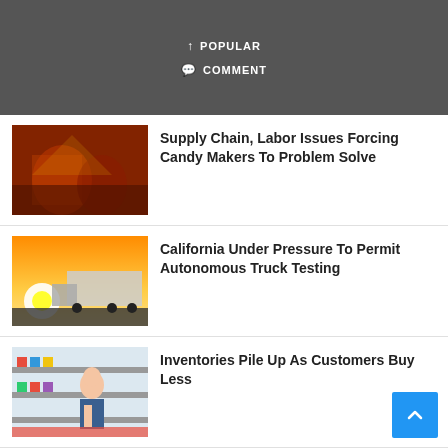POPULAR  COMMENT
[Figure (photo): People at a candy manufacturing event, red and brown tones]
Supply Chain, Labor Issues Forcing Candy Makers To Problem Solve
[Figure (photo): Truck on highway at sunset with bright light flare]
California Under Pressure To Permit Autonomous Truck Testing
[Figure (photo): Woman in a store aisle looking at products on shelves]
Inventories Pile Up As Customers Buy Less
[Figure (photo): Green electric vehicle charging port close-up]
Graphite Shortage In The Offing As EV Sales Soar